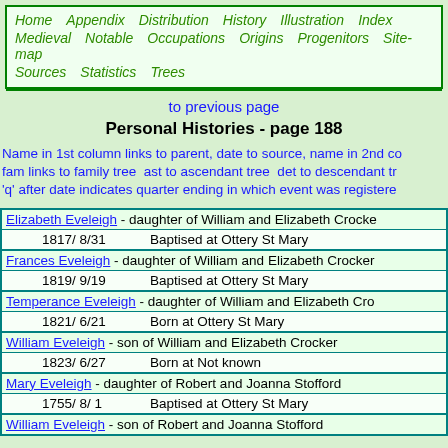Home  Appendix  Distribution  History  Illustration  Index  Medieval  Notable  Occupations  Origins  Progenitors  Site-map  Sources  Statistics  Trees
to previous page
Personal Histories - page 188
Name in 1st column links to parent, date to source, name in 2nd co... fam links to family tree  ast to ascendant tree  det to descendant tr... 'q' after date indicates quarter ending in which event was registere...
|  | Date | Event |
| --- | --- | --- |
| Elizabeth Eveleigh - daughter of William and Elizabeth Crocker |  |  |
|  | 1817/ 8/31 | Baptised at Ottery St Mary |
| Frances Eveleigh - daughter of William and Elizabeth Crocker |  |  |
|  | 1819/ 9/19 | Baptised at Ottery St Mary |
| Temperance Eveleigh - daughter of William and Elizabeth Cro... |  |  |
|  | 1821/ 6/21 | Born at Ottery St Mary |
| William Eveleigh - son of William and Elizabeth Crocker |  |  |
|  | 1823/ 6/27 | Born at Not known |
| Mary Eveleigh - daughter of Robert and Joanna Stofford |  |  |
|  | 1755/ 8/ 1 | Baptised at Ottery St Mary |
| William Eveleigh - son of Robert and Joanna Stofford |  |  |